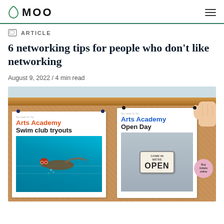MOO
ARTICLE
6 networking tips for people who don't like networking
August 9, 2022 / 4 min read
[Figure (photo): A cork bulletin board with two printed posters pinned to it. Left poster shows 'Arts Academy Swim club tryouts' in orange and black text with a swimmer photo. Right poster shows 'Arts Academy Open Day' in blue and black text with a COME IN WE'RE OPEN sign photo. A hand is pinning the right poster. A pink circular 'Buy tickets online' sticker is visible on the right.]